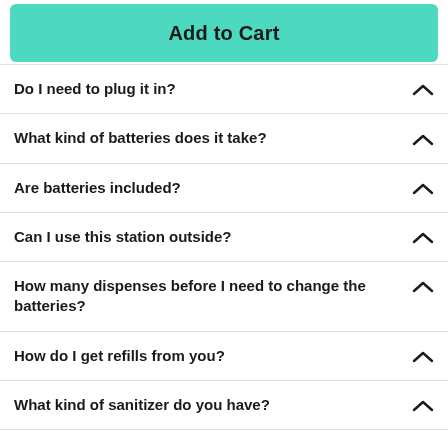Add to Cart
Do I need to plug it in?
What kind of batteries does it take?
Are batteries included?
Can I use this station outside?
How many dispenses before I need to change the batteries?
How do I get refills from you?
What kind of sanitizer do you have?
Do I have to buy refills from you?
Does it have a warranty?